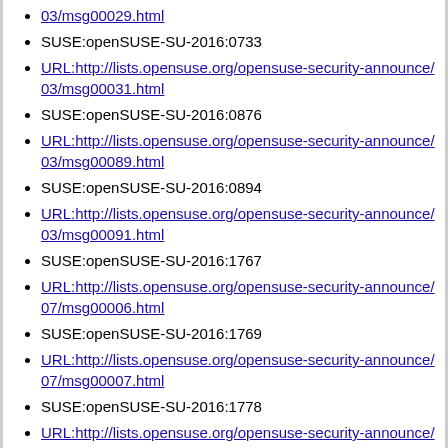03/msg00029.html (link)
SUSE:openSUSE-SU-2016:0733
URL:http://lists.opensuse.org/opensuse-security-announce/03/msg00031.html
SUSE:openSUSE-SU-2016:0876
URL:http://lists.opensuse.org/opensuse-security-announce/03/msg00089.html
SUSE:openSUSE-SU-2016:0894
URL:http://lists.opensuse.org/opensuse-security-announce/03/msg00091.html
SUSE:openSUSE-SU-2016:1767
URL:http://lists.opensuse.org/opensuse-security-announce/07/msg00006.html
SUSE:openSUSE-SU-2016:1769
URL:http://lists.opensuse.org/opensuse-security-announce/07/msg00007.html
SUSE:openSUSE-SU-2016:1778
URL:http://lists.opensuse.org/opensuse-security-announce/07/msg00008.html
UBUNTU:USN-2917-1
URL:http://www.ubuntu.com/usn/USN-2917-1
UBUNTU:USN-2917-2
URL:http://www.ubuntu.com/usn/USN-2917-2